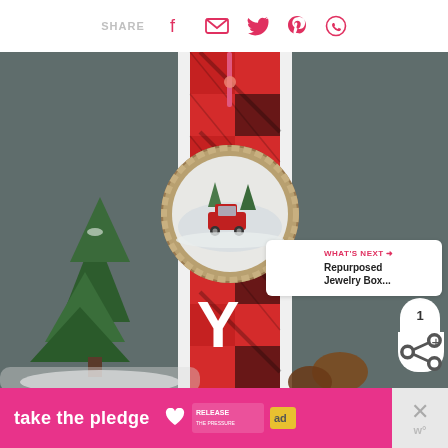SHARE [facebook] [email] [twitter] [pinterest] [whatsapp]
[Figure (photo): Christmas craft scene: a red and black buffalo plaid vertical banner with a circular ornament featuring a vintage red truck in snow, a white letter Y at the bottom, a small pine tree to the left, and pinecones at the base. Dark chalkboard background.]
WHAT'S NEXT → Repurposed Jewelry Box...
[Figure (infographic): Ad bar at bottom: pink/magenta background with text 'take the pledge', RELEASE logo, ad marker, and close X button on the right.]